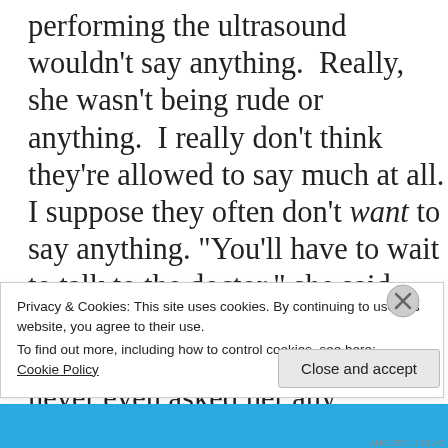performing the ultrasound wouldn't say anything.  Really, she wasn't being rude or anything.  I really don't think they're allowed to say much at all.
I suppose they often don't want to say anything. “You’ll have to wait to talk to the doctor,” she said, somewhat calm and detached but with a slight hint of sensitivity.  I never even asked her any questions.  I guess she just assumed that
Privacy & Cookies: This site uses cookies. By continuing to use this website, you agree to their use.
To find out more, including how to control cookies, see here:
Cookie Policy